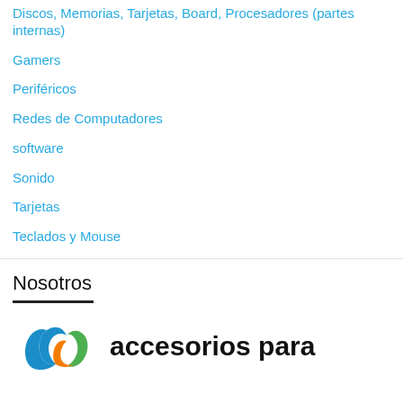Discos, Memorias, Tarjetas, Board, Procesadores (partes internas)
Gamers
Periféricos
Redes de Computadores
software
Sonido
Tarjetas
Teclados y Mouse
Nosotros
[Figure (logo): Colorful arc logo with text 'accesorios para']